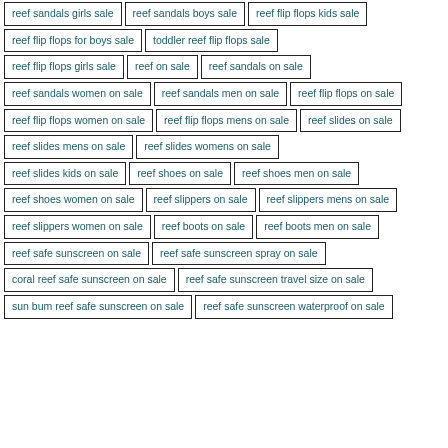reef sandals girls sale
reef sandals boys sale
reef flip flops kids sale
reef flip flops for boys sale
toddler reef flip flops sale
reef flip flops girls sale
reef on sale
reef sandals on sale
reef sandals women on sale
reef sandals men on sale
reef flip flops on sale
reef flip flops women on sale
reef flip flops mens on sale
reef slides on sale
reef slides mens on sale
reef slides womens on sale
reef slides kids on sale
reef shoes on sale
reef shoes men on sale
reef shoes women on sale
reef slippers on sale
reef slippers mens on sale
reef slippers women on sale
reef boots on sale
reef boots men on sale
reef safe sunscreen on sale
reef safe sunscreen spray on sale
coral reef safe sunscreen on sale
reef safe sunscreen travel size on sale
sun bum reef safe sunscreen on sale
reef safe sunscreen waterproof on sale